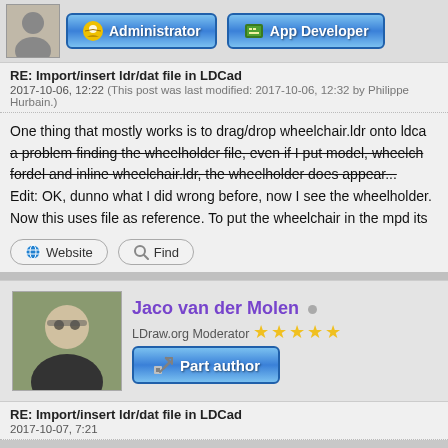[Figure (screenshot): Top section showing user avatar and role badges: Administrator, App Developer]
RE: Import/insert ldr/dat file in LDCad
2017-10-06, 12:22 (This post was last modified: 2017-10-06, 12:32 by Philippe Hurbain.)
One thing that mostly works is to drag/drop wheelchair.ldr onto ldca... [strikethrough] a problem finding the wheelholder file, even if I put model, wheelch... fordel and inline wheelchair.ldr, the wheelholder does appear... [/strikethrough] Edit: OK, dunno what I did wrong before, now I see the wheelholder. Now this uses file as reference. To put the wheelchair in the mpd its
Website
Find
[Figure (photo): Avatar photo of Jaco van der Molen - man with glasses]
Jaco van der Molen
LDraw.org Moderator ★★★★★
[Figure (other): Part author badge button]
RE: Import/insert ldr/dat file in LDCad
2017-10-07, 7:21